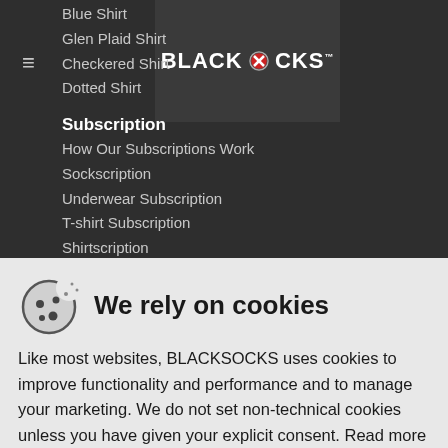[Figure (logo): BLACKSOCKS logo with stylized red sock icon replacing the letter O]
Blue Shirt
Glen Plaid Shirt
Checkered Shirt
Dotted Shirt
Subscription
How Our Subscriptions Work
Sockscription
Underwear Subscription
T-shirt Subscription
Shirtscription
We rely on cookies
Like most websites, BLACKSOCKS uses cookies to improve functionality and performance and to manage your marketing. We do not set non-technical cookies unless you have given your explicit consent. Read more in our Privacy Policy.